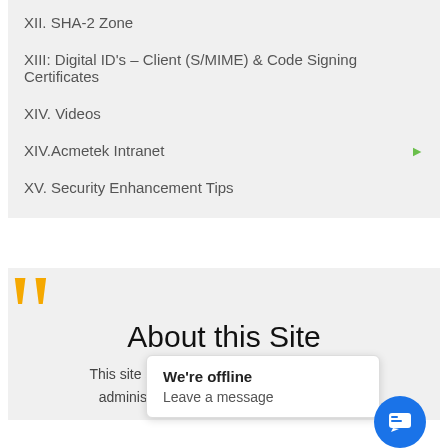XII. SHA-2 Zone
XIII: Digital ID’s – Client (S/MIME) & Code Signing Certificates
XIV. Videos
XIV.Acmetek Intranet
XV. Security Enhancement Tips
About this Site
This site str… questi… administrators, business representatives
We’re offline
Leave a message